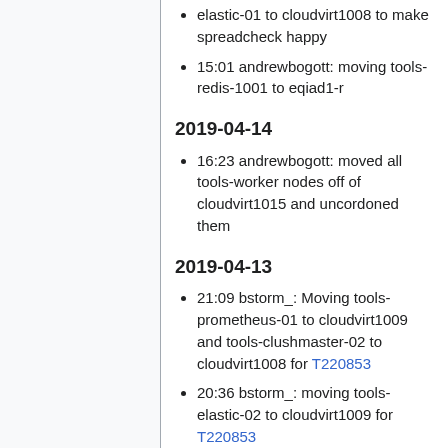elastic-01 to cloudvirt1008 to make spreadcheck happy
15:01 andrewbogott: moving tools-redis-1001 to eqiad1-r
2019-04-14
16:23 andrewbogott: moved all tools-worker nodes off of cloudvirt1015 and uncordoned them
2019-04-13
21:09 bstorm_: Moving tools-prometheus-01 to cloudvirt1009 and tools-clushmaster-02 to cloudvirt1008 for T220853
20:36 bstorm_: moving tools-elastic-02 to cloudvirt1009 for T220853
19:58 bstorm_: started migrating tools-k8s-etcd-03 to cloudvirt1012 T220853